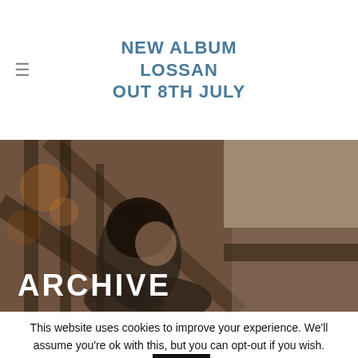NEW ALBUM LOSSAN OUT 8TH JULY
[Figure (photo): Photo of a young woman with dark curly hair smiling, photographed under a wooden pier structure with water visible in the background. The word ARCHIVE is overlaid in large white bold letters at the bottom left.]
This website uses cookies to improve your experience. We'll assume you're ok with this, but you can opt-out if you wish.
Accept
Reject
Read More